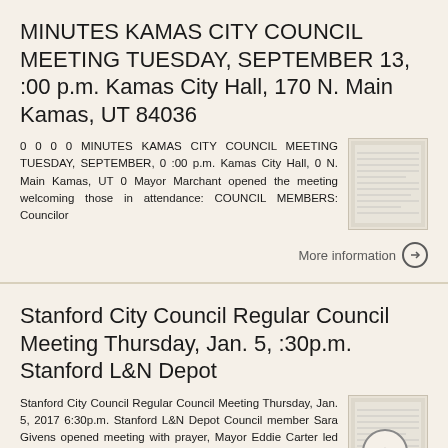MINUTES KAMAS CITY COUNCIL MEETING TUESDAY, SEPTEMBER 13, :00 p.m. Kamas City Hall, 170 N. Main Kamas, UT 84036
0 0 0 0 MINUTES KAMAS CITY COUNCIL MEETING TUESDAY, SEPTEMBER, 0 :00 p.m. Kamas City Hall, 0 N. Main Kamas, UT 0 Mayor Marchant opened the meeting welcoming those in attendance: COUNCIL MEMBERS: Councilor
More information
Stanford City Council Regular Council Meeting Thursday, Jan. 5, :30p.m. Stanford L&N Depot
Stanford City Council Regular Council Meeting Thursday, Jan. 5, 2017 6:30p.m. Stanford L&N Depot Council member Sara Givens opened meeting with prayer, Mayor Eddie Carter led the Pledge of Allegiance.